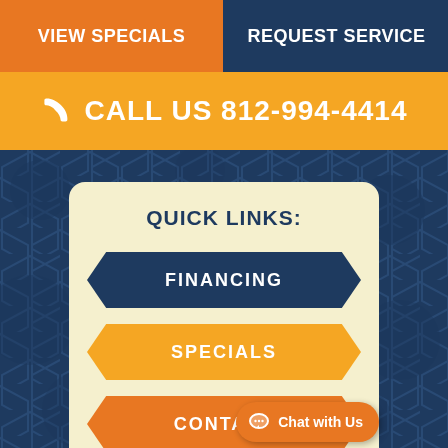VIEW SPECIALS
REQUEST SERVICE
CALL US 812-994-4414
QUICK LINKS:
FINANCING
SPECIALS
CONTACT
Chat with Us